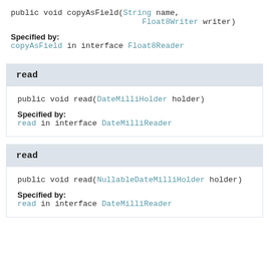public void copyAsField(String name, Float8Writer writer)
Specified by:
copyAsField in interface Float8Reader
read
public void read(DateMilliHolder holder)
Specified by:
read in interface DateMilliReader
read
public void read(NullableDateMilliHolder holder)
Specified by:
read in interface DateMilliReader